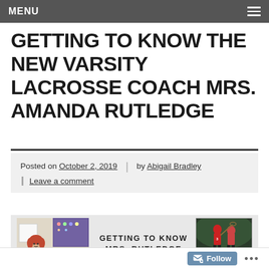MENU
GETTING TO KNOW THE NEW VARSITY LACROSSE COACH MRS. AMANDA RUTLEDGE
Posted on October 2, 2019 | by Abigail Bradley
Leave a comment
[Figure (photo): Feature image with a photo of Mrs. Rutledge in a classroom on the left and a small lacrosse action photo on the upper right, with text 'GETTING TO KNOW MRS. RUTLEDGE' overlaid in the center.]